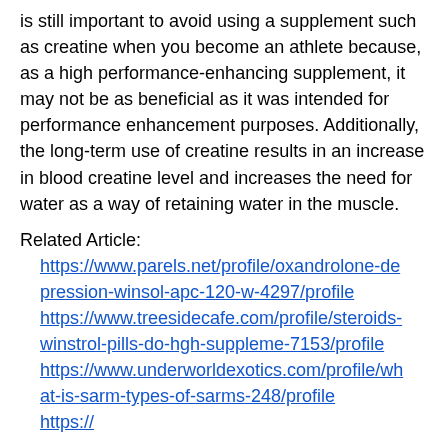is still important to avoid using a supplement such as creatine when you become an athlete because, as a high performance-enhancing supplement, it may not be as beneficial as it was intended for performance enhancement purposes. Additionally, the long-term use of creatine results in an increase in blood creatine level and increases the need for water as a way of retaining water in the muscle.
Related Article: https://www.parels.net/profile/oxandrolone-depression-winsol-apc-120-w-4297/profile https://www.treesidecafe.com/profile/steroids-winstrol-pills-do-hgh-suppleme-7153/profile https://www.underworldexotics.com/profile/what-is-sarm-types-of-sarms-248/profile